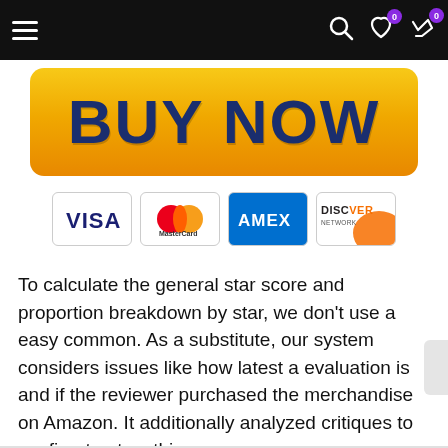Navigation bar with menu, search, wishlist, and cart icons
[Figure (other): BUY NOW button with yellow-orange gradient background and dark blue bold text]
[Figure (other): Payment method icons: VISA, MasterCard, AMEX, Discover Network]
To calculate the general star score and proportion breakdown by star, we don't use a easy common. As a substitute, our system considers issues like how latest a evaluation is and if the reviewer purchased the merchandise on Amazon. It additionally analyzed critiques to confirm trustworthiness.